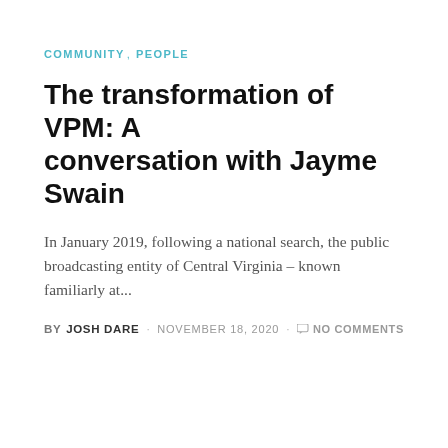COMMUNITY  PEOPLE
The transformation of VPM: A conversation with Jayme Swain
In January 2019, following a national search, the public broadcasting entity of Central Virginia – known familiarly at...
BY JOSH DARE · NOVEMBER 18, 2020 · NO COMMENTS